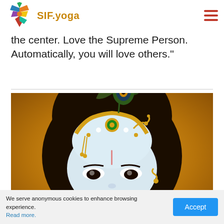SIF.yoga
the center. Love the Supreme Person. Automatically, you will love others.”
[Figure (photo): Close-up portrait of Krishna deity with peacock feather in hair ornament and golden crown/headpiece with jewels, warm golden background]
We serve anonymous cookies to enhance browsing experience. Read more.